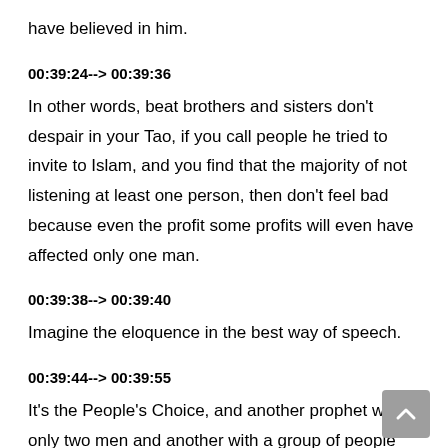have believed in him.
00:39:24--> 00:39:36
In other words, beat brothers and sisters don't despair in your Tao, if you call people he tried to invite to Islam, and you find that the majority of not listening at least one person, then don't feel bad because even the profit some profits will even have affected only one man.
00:39:38--> 00:39:40
Imagine the eloquence in the best way of speech.
00:39:44--> 00:39:55
It's the People's Choice, and another prophet with only two men and another with a group of people and another with nobody even with